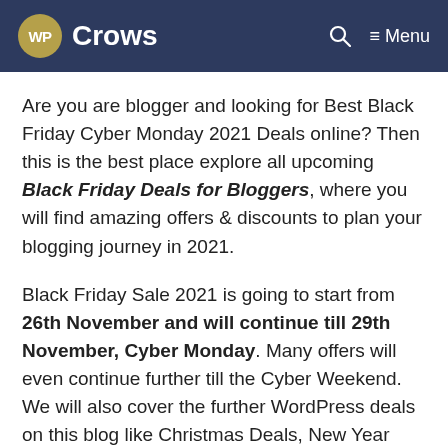WP Crows — Menu
Are you are blogger and looking for Best Black Friday Cyber Monday 2021 Deals online? Then this is the best place explore all upcoming Black Friday Deals for Bloggers, where you will find amazing offers & discounts to plan your blogging journey in 2021.
Black Friday Sale 2021 is going to start from 26th November and will continue till 29th November, Cyber Monday. Many offers will even continue further till the Cyber Weekend. We will also cover the further WordPress deals on this blog like Christmas Deals, New Year Deals etc. So keep a track of this list of Best Black Friday